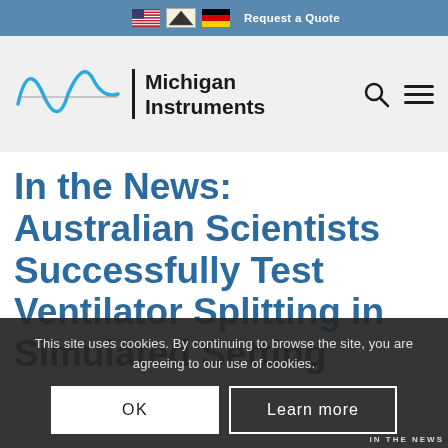Request a Quote
[Figure (logo): Michigan Instruments logo with blue waveform and company name]
In the News: Australian Scientists Successfully Test Ventilator Splitting in Simulated Setting
This site uses cookies. By continuing to browse the site, you are agreeing to our use of cookies.
OK | Learn more